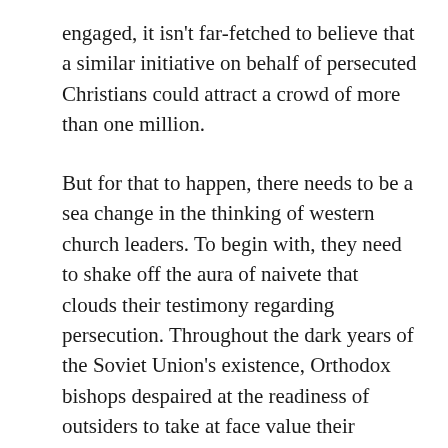engaged, it isn't far-fetched to believe that a similar initiative on behalf of persecuted Christians could attract a crowd of more than one million.
But for that to happen, there needs to be a sea change in the thinking of western church leaders. To begin with, they need to shake off the aura of naivete that clouds their testimony regarding persecution. Throughout the dark years of the Soviet Union's existence, Orthodox bishops despaired at the readiness of outsiders to take at face value their assurances—offered with a nervous eye on the reaction of the authorities—that life was really not that bad. We discern a similar tendency today with regard to the Islamic world.